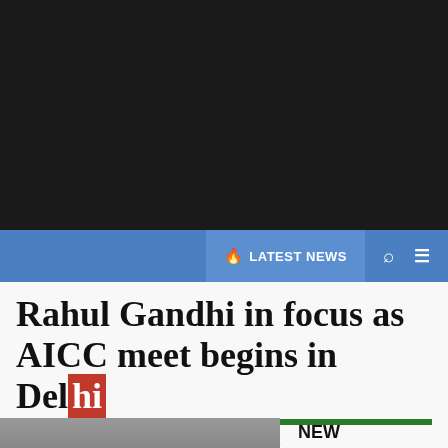[Figure (photo): Dark banner/advertisement area at top of news website page]
LATEST NEWS
Rahul Gandhi in focus as AICC meet begins in Delhi
RAJEEV RANJAN NAG / January 17, 2014
[Figure (photo): Partial photo of person at bottom left]
NEW